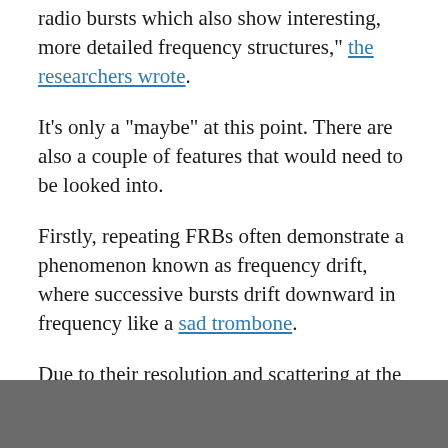radio bursts which also show interesting, more detailed frequency structures," the researchers wrote.
It's only a "maybe" at this point. There are also a couple of features that would need to be looked into.
Firstly, repeating FRBs often demonstrate a phenomenon known as frequency drift, where successive bursts drift downward in frequency like a sad trombone.
Due to their resolution and scattering at the frequency range they were observing, the researchers were unable to resolve any frequency drift in their data. That doesn't mean it wasn't